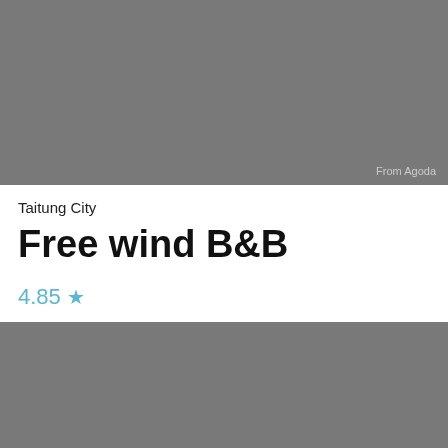[Figure (photo): Hotel or accommodation image placeholder, gray background with 'From Agoda' watermark in bottom right corner]
Taitung City
Free wind B&B
4.85 ★
[Figure (photo): Second hotel or accommodation image placeholder, gray background]